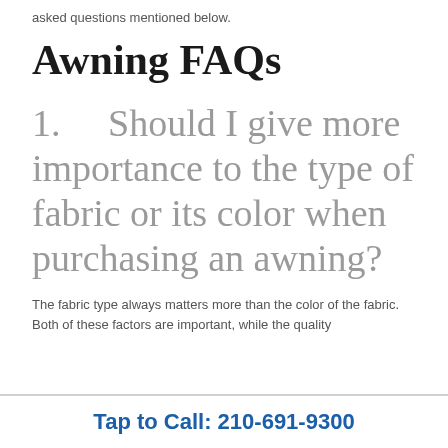asked questions mentioned below.
Awning FAQs
1.   Should I give more importance to the type of fabric or its color when purchasing an awning?
The fabric type always matters more than the color of the fabric. Both of these factors are important, while the quality
Tap to Call: 210-691-9300